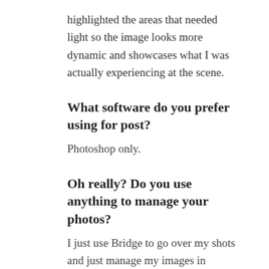highlighted the areas that needed light so the image looks more dynamic and showcases what I was actually experiencing at the scene.
What software do you prefer using for post?
Photoshop only.
Oh really? Do you use anything to manage your photos?
I just use Bridge to go over my shots and just manage my images in Finder. I don't use Lightroom or anything else. Just